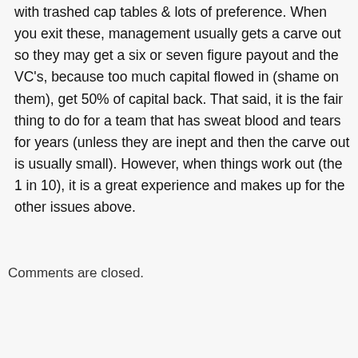with trashed cap tables & lots of preference. When you exit these, management usually gets a carve out so they may get a six or seven figure payout and the VC's, because too much capital flowed in (shame on them), get 50% of capital back. That said, it is the fair thing to do for a team that has sweat blood and tears for years (unless they are inept and then the carve out is usually small). However, when things work out (the 1 in 10), it is a great experience and makes up for the other issues above.
Comments are closed.